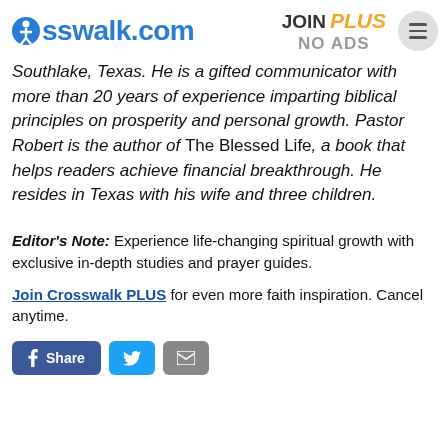crosswalk.com | JOIN PLUS NO ADS
Southlake, Texas. He is a gifted communicator with more than 20 years of experience imparting biblical principles on prosperity and personal growth. Pastor Robert is the author of The Blessed Life, a book that helps readers achieve financial breakthrough. He resides in Texas with his wife and three children.
Editor's Note: Experience life-changing spiritual growth with exclusive in-depth studies and prayer guides.
Join Crosswalk PLUS for even more faith inspiration. Cancel anytime.
[Figure (other): Social sharing buttons: Facebook Share, Twitter, Email]